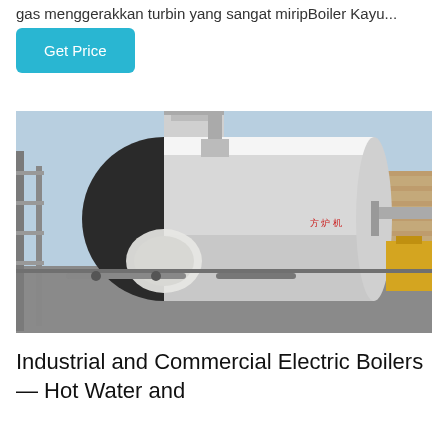gas menggerakkan turbin yang sangat miripBoiler Kayu...
Get Price
[Figure (photo): Industrial boiler unit installed outdoors at a facility, showing a large cylindrical boiler body with insulated burner inlet, piping, exhaust stack, and adjacent equipment. The boiler appears to be a fire-tube or water-tube type with Chinese manufacturer markings.]
Industrial and Commercial Electric Boilers — Hot Water and